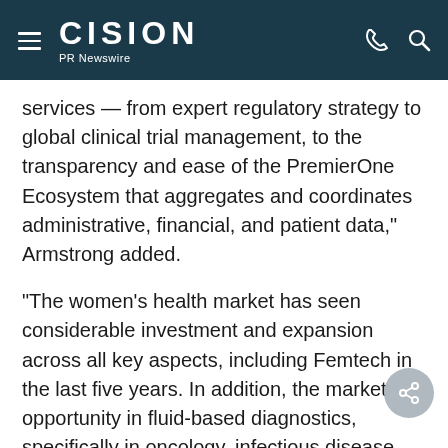CISION PR Newswire
services — from expert regulatory strategy to global clinical trial management, to the transparency and ease of the PremierOne Ecosystem that aggregates and coordinates administrative, financial, and patient data," Armstrong added.
"The women's health market has seen considerable investment and expansion across all key aspects, including Femtech in the last five years. In addition, the market opportunity in fluid-based diagnostics, specifically in oncology, infectious disease, and women's health is supporting unprecedented levels of research in these areas. This collaboration gives